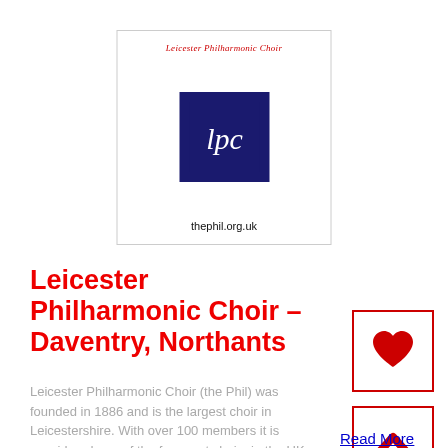[Figure (logo): Leicester Philharmonic Choir logo with text 'Leicester Philharmonic Choir' in red italic at top, dark blue square with white 'lpc' letters in center, and 'thephil.org.uk' at bottom]
Leicester Philharmonic Choir – Daventry, Northants
Leicester Philharmonic Choir (the Phil) was founded in 1886 and is the largest choir in Leicestershire. With over 100 members it is considered one of the foremost choirs in the UK. Our Patron, Karl Je ...
[Figure (illustration): Red heart icon inside a red-bordered square button]
[Figure (illustration): Red upward chevron/arrow icon inside a red-bordered square button]
Read More